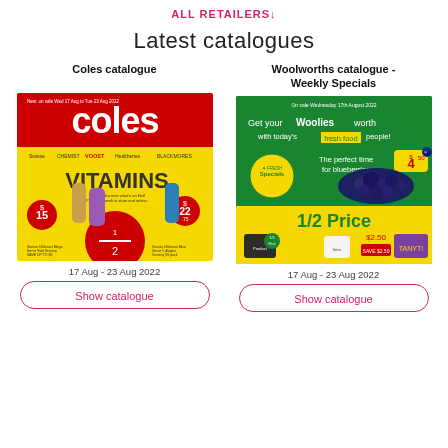ALL RETAILERS↓
Latest catalogues
Coles catalogue
[Figure (photo): Coles catalogue cover - red and yellow design with 'coles' logo, vitamins products, 1/2 price promotion, $15 and $22.75 prices shown]
17 Aug - 23 Aug 2022
Show catalogue
Woolworths catalogue - Weekly Specials
[Figure (photo): Woolworths catalogue cover - green design with 'Get your Woolies worth with today's fresh food people!' headline, blueberries for $4.50, 1/2 Price promotion, $2.50 SAVE $2.50]
17 Aug - 23 Aug 2022
Show catalogue